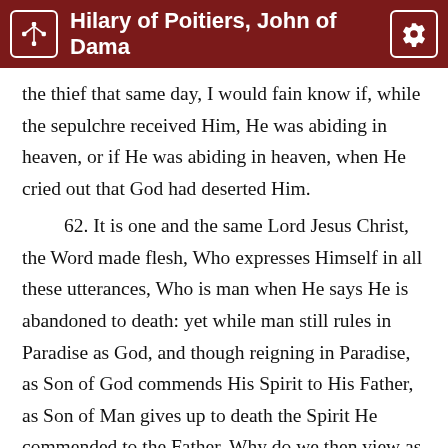Hilary of Poitiers, John of Dama
the thief that same day, I would fain know if, while the sepulchre received Him, He was abiding in heaven, or if He was abiding in heaven, when He cried out that God had deserted Him.
62. It is one and the same Lord Jesus Christ, the Word made flesh, Who expresses Himself in all these utterances, Who is man when He says He is abandoned to death: yet while man still rules in Paradise as God, and though reigning in Paradise, as Son of God commends His Spirit to His Father, as Son of Man gives up to death the Spirit He commended to the Father. Why do we then view as